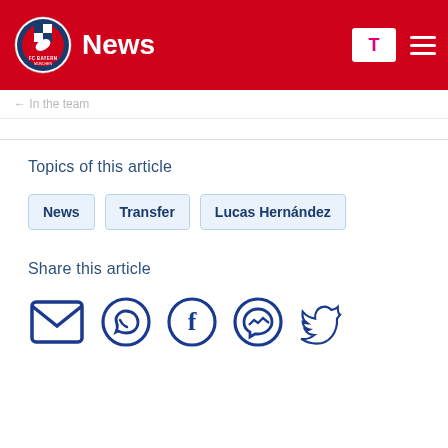News
Topics of this article
News
Transfer
Lucas Hernández
Share this article
[Figure (infographic): Social share icons: Email, WhatsApp, Facebook, Messenger, Twitter]